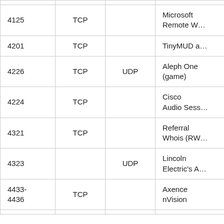| Port | TCP | UDP | Description |
| --- | --- | --- | --- |
| 4125 | TCP |  | Microsoft Remote W… |
| 4201 | TCP |  | TinyMUD a… |
| 4226 | TCP | UDP | Aleph One (game) |
| 4224 | TCP |  | Cisco Audio Sess… |
| 4321 | TCP |  | Referral Whois (RW… |
| 4323 |  | UDP | Lincoln Electric's A… |
| 4433-4436 | TCP |  | Axence nVision |